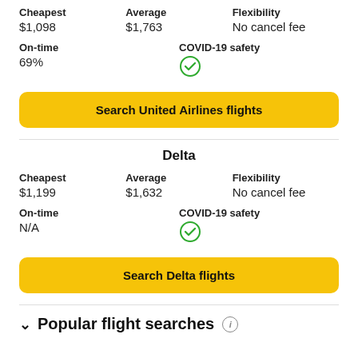Cheapest: $1,098 | Average: $1,763 | Flexibility: No cancel fee
On-time: 69% | COVID-19 safety: checkmark
Search United Airlines flights
Delta
Cheapest: $1,199 | Average: $1,632 | Flexibility: No cancel fee
On-time: N/A | COVID-19 safety: checkmark
Search Delta flights
Popular flight searches